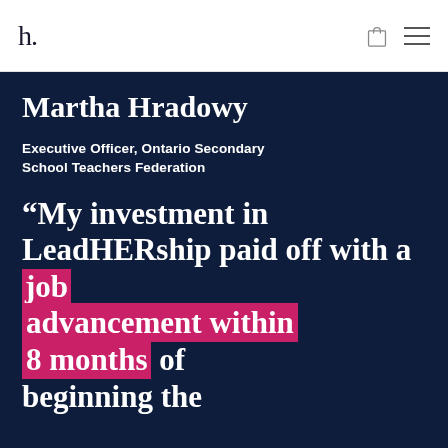h.
Martha Hradowy
Executive Officer, Ontario Secondary School Teachers Federation
“My investment in LeadHERship paid off with a job advancement within 8 months of beginning the